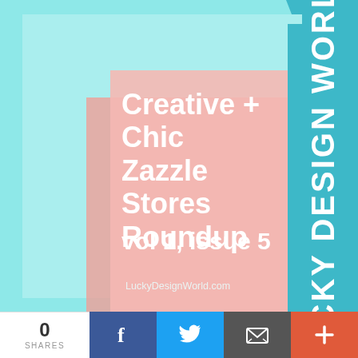[Figure (illustration): Colorful geometric background with light teal rectangle, coral/pink rectangles layered, and dark teal triangle in top-right corner forming a decorative composition.]
Creative + Chic Zazzle Stores Roundup
vol 1, issue 5
LuckyDesignWorld.com
LUCKY DESIGN WORLD
0 SHARES | Facebook | Twitter | Email | +